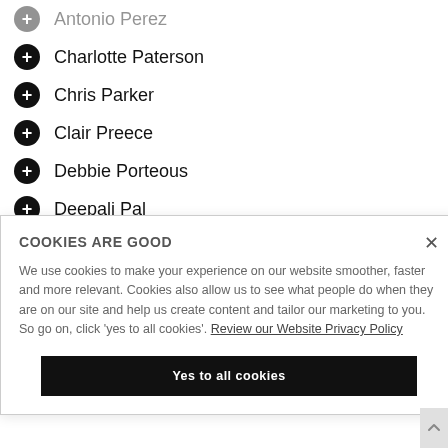Antonio Perez
Charlotte Paterson
Chris Parker
Clair Preece
Debbie Porteous
Deepali Pal
Eduwin Pakpahan
Fania Pagnamenta
Francesca Pellicciotti
COOKIES ARE GOOD
We use cookies to make your experience on our website smoother, faster and more relevant. Cookies also allow us to see what people do when they are on our site and help us create content and tailor our marketing to you. So go on, click 'yes to all cookies'. Review our Website Privacy Policy